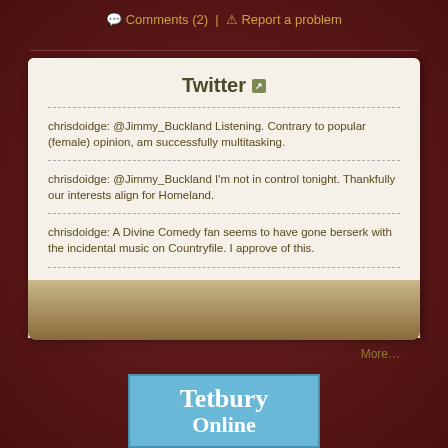💬 Comments (2) | ⚠ Report a problem
Twitter
chrisdoidge: @Jimmy_Buckland Listening. Contrary to popular (female) opinion, am successfully multitasking.
chrisdoidge: @Jimmy_Buckland I'm not in control tonight. Thankfully our interests align for Homeland.
chrisdoidge: A Divine Comedy fan seems to have gone berserk with the incidental music on Countryfile. I approve of this.
chrisdoidge: http://t.co/t9MkmZPm - Seriously? Ministers' pity for 'hard-pressed' people extending their homes & then being asked to insulate them?!
More...
[Figure (logo): Tetbury Online logo - blue background with white text reading Tetbury Online]